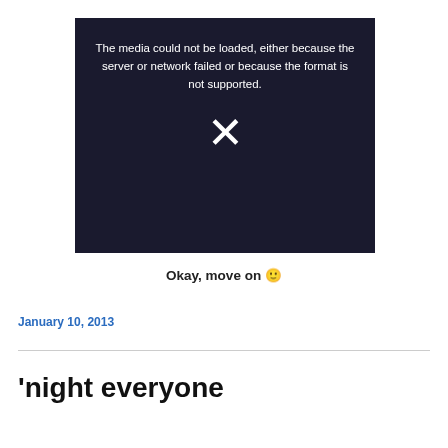[Figure (screenshot): Video player showing error message: 'The media could not be loaded, either because the server or network failed or because the format is not supported.' with a large X icon in the center, overlaid on a dark image of people in formal attire.]
Okay, move on 🙂
January 10, 2013
'night everyone